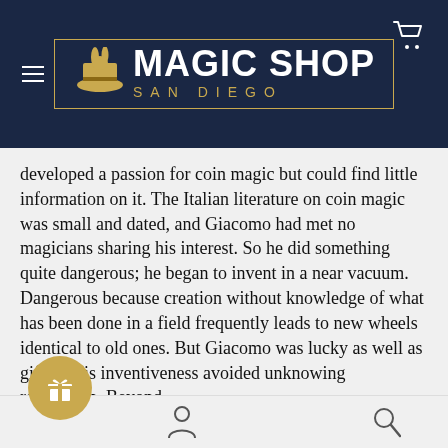[Figure (logo): Magic Shop San Diego logo: golden rabbit emerging from a top hat, with 'MAGIC SHOP' in large white bold text and 'SAN DIEGO' in gold spaced letters, all inside a gold border rectangle on a dark navy background.]
developed a passion for coin magic but could find little information on it. The Italian literature on coin magic was small and dated, and Giacomo had met no magicians sharing his interest. So he did something quite dangerous; he began to invent in a near vacuum. Dangerous because creation without knowledge of what has been done in a field frequently leads to new wheels identical to old ones. But Giacomo was lucky as well as gifted. His inventiveness avoided unknowing replication. Beyond that he was genuinely innovative and highly deceptive
[Figure (illustration): Bottom navigation bar with person/account icon and search/magnifying glass icon, plus a gold circular gift/present button on the left side.]